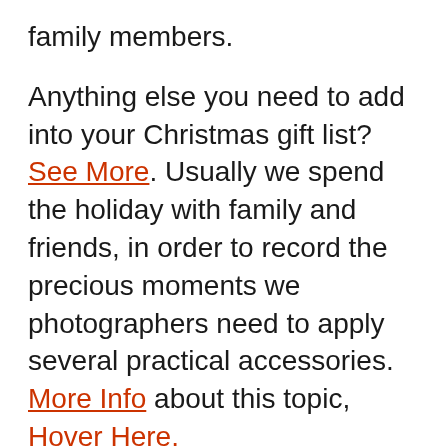family members.
Anything else you need to add into your Christmas gift list? See More. Usually we spend the holiday with family and friends, in order to record the precious moments we photographers need to apply several practical accessories. More Info about this topic, Hover Here.
Giveaway: Best Power Bank On Your Christmas Gift List
https://js.gleam.io/e.js
The exciting Christmas Gift Event this year will be held in early December, please stay tuned on and keep up with EasyAcc. You can also comment